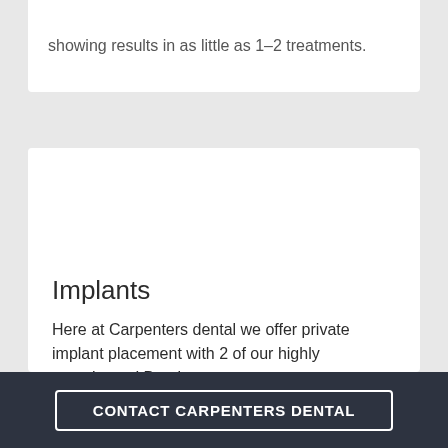showing results in as little as 1-2 treatments.
Implants
Here at Carpenters dental we offer private implant placement with 2 of our highly experienced Dentists.
A dental implant is an artificial tooth that is placed into your jaw to hold a replacement tooth or bridge.
CONTACT CARPENTERS DENTAL